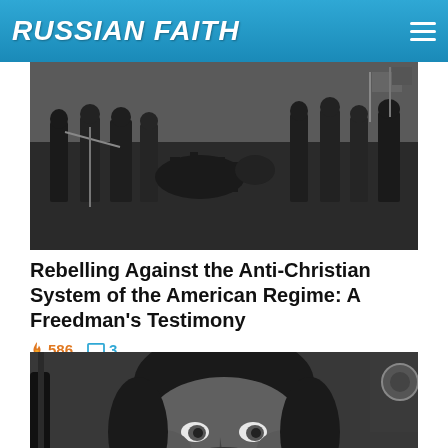RUSSIAN FAITH
[Figure (photo): Black and white historical photograph showing a group of soldiers or armed men standing in a field]
Rebelling Against the Anti-Christian System of the American Regime: A Freedman's Testimony
586 comments 3
[Figure (photo): Close-up black and white portrait photograph of a bearded man with intense eyes]